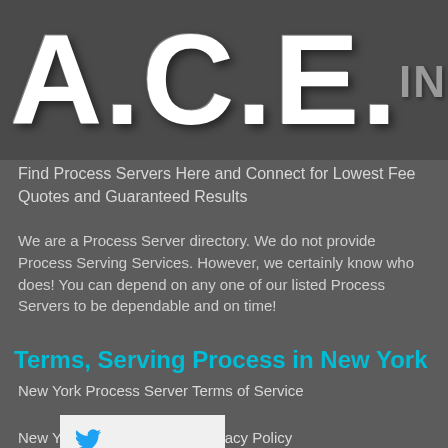[Figure (logo): A.C.E. INC. logo in large bold white letters on dark grey background with 'INC.' in grey to the upper right]
Find Process Servers Here and Connect for Lowest Fee Quotes and Guaranteed Results
We are a Process Server directory. We do not provide Process Serving Services. However, we certainly know who does! You can depend on any one of our listed Process Servers to be dependable and on time!
Terms, Serving Process in New York
New York Process Server Terms of Service
New York Process Serving Privacy Policy
[Figure (logo): Twitter bird icon on white/light grey rectangle button]